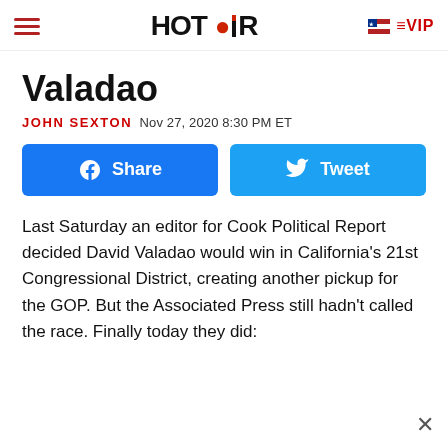HOT AIR | VIP
Valadao
JOHN SEXTON  Nov 27, 2020 8:30 PM ET
[Figure (infographic): Facebook Share button and Twitter Tweet button]
Last Saturday an editor for Cook Political Report decided David Valadao would win in California's 21st Congressional District, creating another pickup for the GOP. But the Associated Press still hadn't called the race. Finally today they did: